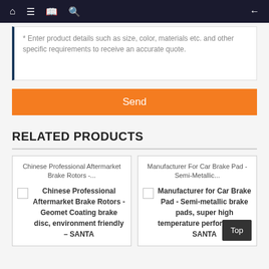Navigation bar with home, menu, book, search icons and back arrow
* Enter product details such as size, color, materials etc. and other specific requirements to receive an accurate quote.
Send
RELATED PRODUCTS
Chinese Professional Aftermarket Brake Rotors -...
Chinese Professional Aftermarket Brake Rotors - Geomet Coating brake disc, environment friendly – SANTA
Manufacturer For Car Brake Pad - Semi-Metallic...
Manufacturer for Car Brake Pad - Semi-metallic brake pads, super high temperature performance – SANTA